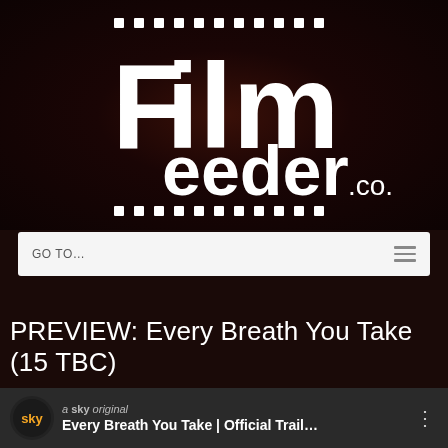[Figure (logo): FilmFeeder.co.uk logo on dark red/black background with film strip dot patterns above and below]
[Figure (screenshot): Navigation bar with GO TO... text and hamburger menu icon]
PREVIEW: Every Breath You Take (15 TBC)
[Figure (screenshot): Sky original video thumbnail showing 'Every Breath You Take | Official Trail...' with sky logo]